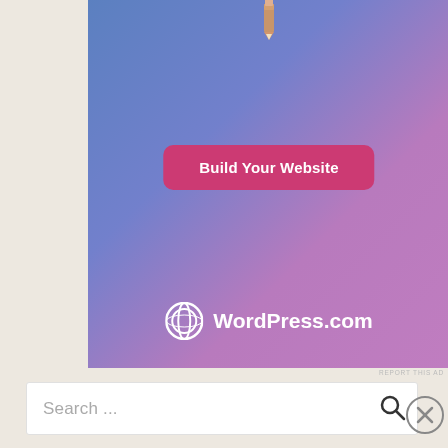[Figure (screenshot): WordPress.com advertisement banner with blue-to-pink gradient background, a 'Build Your Website' pink button in the center, and the WordPress.com logo at the bottom.]
REPORT THIS AD
[Figure (screenshot): Search bar with placeholder text 'Search ...' and a magnifying glass search icon on the right, with an X close button.]
Search ...
Advertisements
[Figure (screenshot): Pocket Casts advertisement banner on a red background: 'An app by listeners, for listeners.' with Pocket Casts logo and a phone image.]
An app by listeners, for listeners.
Pocket Casts